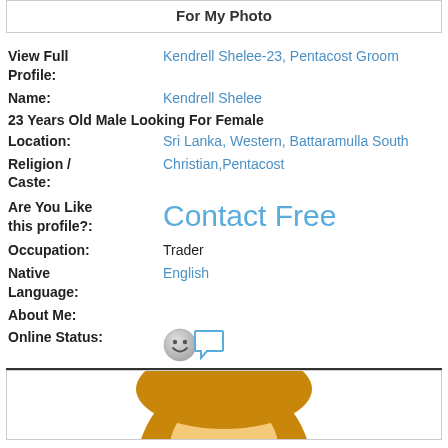For My Photo
View Full Profile: Kendrell Shelee-23, Pentacost Groom
Name: Kendrell Shelee
23 Years Old Male Looking For Female
Location: Sri Lanka, Western, Battaramulla South
Religion / Caste: Christian,Pentacost
Are You Like this profile?: Contact Free
Occupation: Trader
Native Language: English
About Me:
Online Status:
[Figure (illustration): Bottom avatar image with brown/golden hair visible at the bottom of the page]